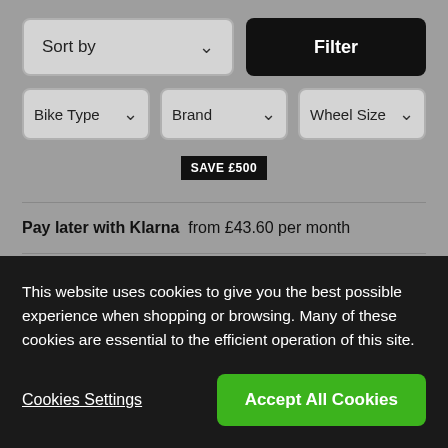[Figure (screenshot): E-commerce filter bar with Sort by dropdown, Filter button, and Bike Type, Brand, Wheel Size dropdowns on a grey background]
SAVE £500
Pay later with Klarna  from £43.60 per month
Save up to £723.27 with Cycle2work
This website uses cookies to give you the best possible experience when shopping or browsing. Many of these cookies are essential to the efficient operation of this site.
Cookies Settings
Accept All Cookies